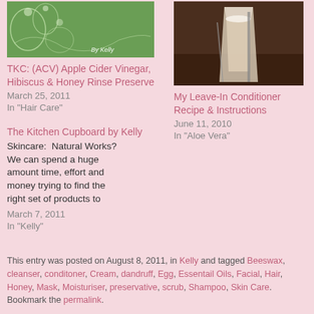[Figure (photo): Green decorative background with floral design and text 'By Kelly']
TKC: (ACV) Apple Cider Vinegar, Hibiscus & Honey Rinse Preserve
March 25, 2011
In "Hair Care"
[Figure (photo): A glass of white/cream colored drink or conditioner mixture]
My Leave-In Conditioner Recipe & Instructions
June 11, 2010
In "Aloe Vera"
The Kitchen Cupboard by Kelly
Skincare:  Natural Works?  We can spend a huge amount time, effort and money trying to find the right set of products to
March 7, 2011
In "Kelly"
This entry was posted on August 8, 2011, in Kelly and tagged Beeswax, cleanser, conditoner, Cream, dandruff, Egg, Essentail Oils, Facial, Hair, Honey, Mask, Moisturiser, preservative, scrub, Shampoo, Skin Care. Bookmark the permalink.